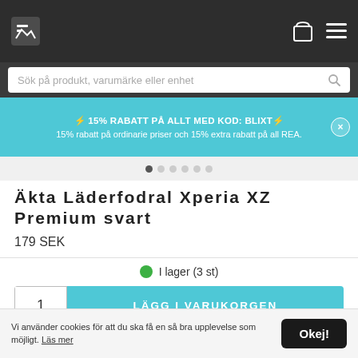Navigation header with logo, cart icon, and menu icon
Sök på produkt, varumärke eller enhet
⚡ 15% RABATT PÅ ALLT MED KOD: BLIXT⚡
15% rabatt på ordinarie priser och 15% extra rabatt på all REA.
Äkta Läderfodral Xperia XZ Premium svart
179 SEK
I lager (3 st)
1  LÄGG I VARUKORGEN
Fri frakt 1-3 dagar med Postnord eller Budbee
Vi använder cookies för att du ska få en så bra upplevelse som möjligt. Läs mer